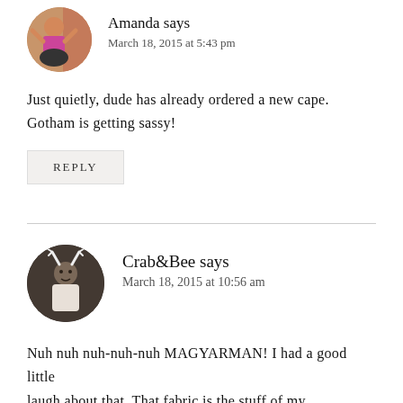Amanda says
March 18, 2015 at 5:43 pm
Just quietly, dude has already ordered a new cape. Gotham is getting sassy!
REPLY
Crab&Bee says
March 18, 2015 at 10:56 am
Nuh nuh nuh-nuh-nuh MAGYARMAN! I had a good little laugh about that. That fabric is the stuff of my childhood dreams (and my adult dreams, who am I kidding?)